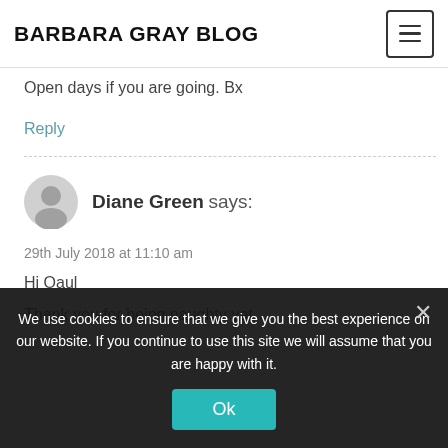BARBARA GRAY BLOG
Open days if you are going. Bx
Reply
Diane Green says:
29th July 2018 at 11:10 am
Hi Oaul
Thank you for being naughty yet
We use cookies to ensure that we give you the best experience on our website. If you continue to use this site we will assume that you are happy with it.